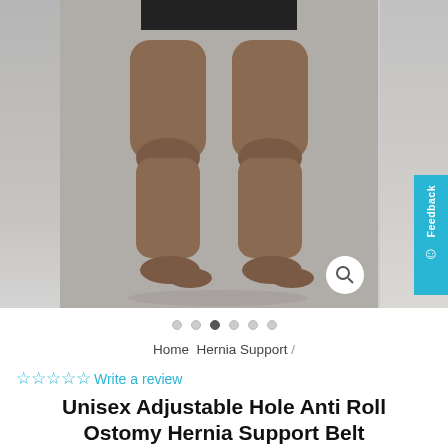[Figure (photo): Product photo showing lower body of a man wearing black shorts, standing barefoot against a gray background. Left and right strips show partial adjacent product images. A magnify/search icon circle appears bottom right of main image. A teal 'Feedback' vertical tab with a chat icon is on the far right.]
• • ● • • •
Home  Hernia Support  /
☆☆☆☆☆Write a review
Unisex Adjustable Hole Anti Roll Ostomy Hernia Support Belt 26cm - Right Sided